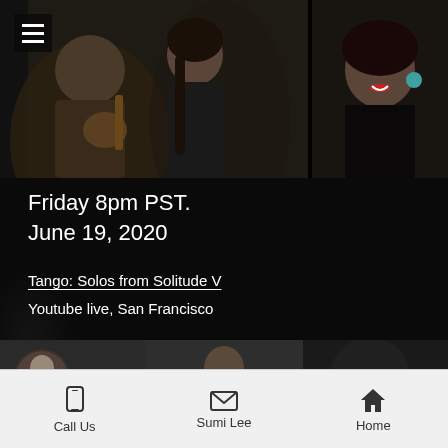[Figure (photo): Two photos side by side: left shows a man playing guitar and a woman standing beside him against a dark background; right shows a smiling woman with red lipstick and teal earrings in a black outfit]
≡
Friday 8pm PST.
June 19, 2020
Tango: Solos from Solitude V
Youtube live, San Francisco
[Figure (screenshot): YouTube video thumbnail showing a woman at a piano (circular avatar) with the title 'Zamba de Usted de Ariel Ramíre...' and a three-dot menu icon, alongside a thumbnail image of a person]
Call Us   Sumi Lee   Home